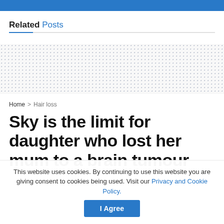Related Posts
[Figure (other): Dotted pattern placeholder area for related posts images]
Home > Hair loss
Sky is the limit for daughter who lost her mum to a brain tumour
This website uses cookies. By continuing to use this website you are giving consent to cookies being used. Visit our Privacy and Cookie Policy.